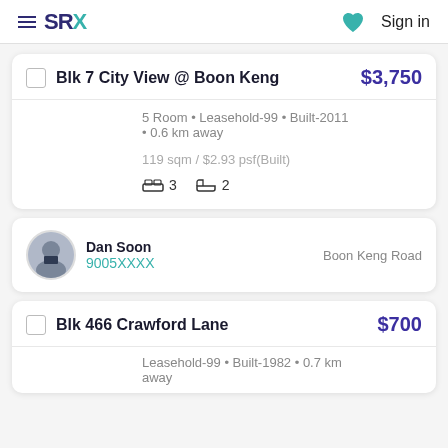SRX  ♥  Sign in
Blk 7 City View @ Boon Keng   $3,750
5 Room • Leasehold-99 • Built-2011 • 0.6 km away
119 sqm / $2.93 psf(Built)
🛏 3   🛁 2
Dan Soon
9005XXXX
Boon Keng Road
Blk 466 Crawford Lane   $700
Leasehold-99 • Built-1982 • 0.7 km away